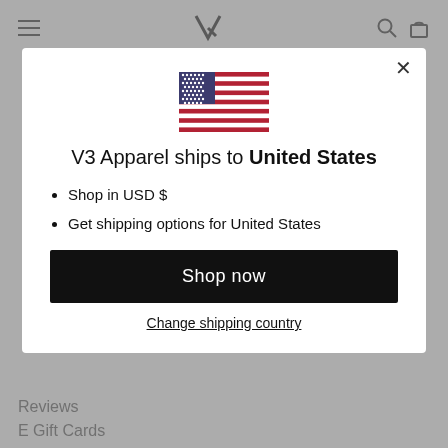V3 Apparel – navigation bar with hamburger menu, logo, search and cart icons
[Figure (illustration): United States flag emoji/icon, rectangular, showing stars field on blue canton and red and white stripes]
V3 Apparel ships to United States
Shop in USD $
Get shipping options for United States
Shop now
Change shipping country
Reviews
E Gift Cards